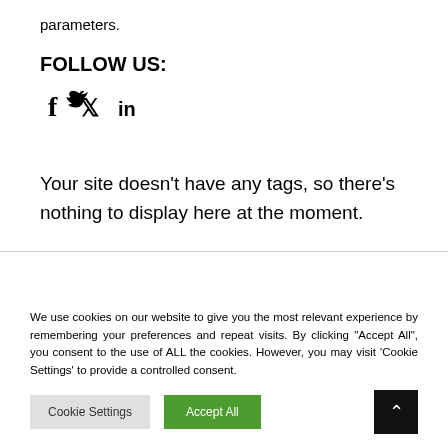parameters.
FOLLOW US:
[Figure (other): Social media icons: Facebook (f), Twitter (bird), LinkedIn (in)]
Your site doesn't have any tags, so there's nothing to display here at the moment.
We use cookies on our website to give you the most relevant experience by remembering your preferences and repeat visits. By clicking "Accept All", you consent to the use of ALL the cookies. However, you may visit 'Cookie Settings' to provide a controlled consent.